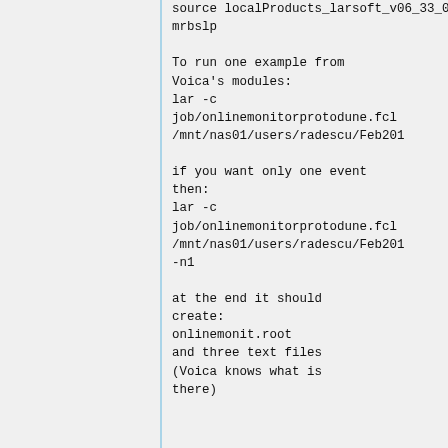source localProducts_larsoft_v06_33_00 mrbslp

To run one example from Voica's modules:
lar -c job/onlinemonitorprotodune.fcl /mnt/nas01/users/radescu/Feb201

if you want only one event then:
lar -c job/onlinemonitorprotodune.fcl /mnt/nas01/users/radescu/Feb201 -n1

at the end it should create:
onlinemonit.root
and three text files
(Voica knows what is there)